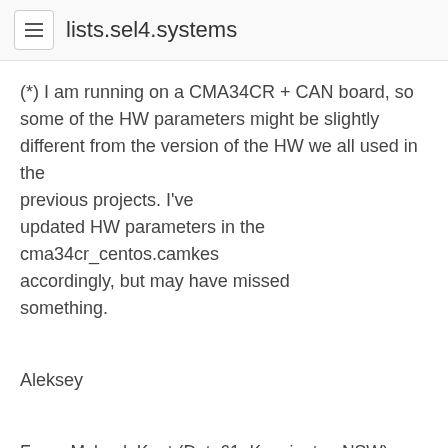lists.sel4.systems
(*) I am running on a CMA34CR + CAN board, so some of the HW parameters might be slightly different from the version of the HW we all used in the previous projects. I've updated HW parameters in the cma34cr_centos.camkes accordingly, but may have missed something.
Aleksey
From: Mcleod, Kent (Data61, Kensington NSW) <Kent.Mcleod@data61.csiro.au<mailto:Kent.Mcleod@data61.csiro.au>>
Sent: Friday, August 16, 2019 3:56 PM
To: Nurie Aleksey